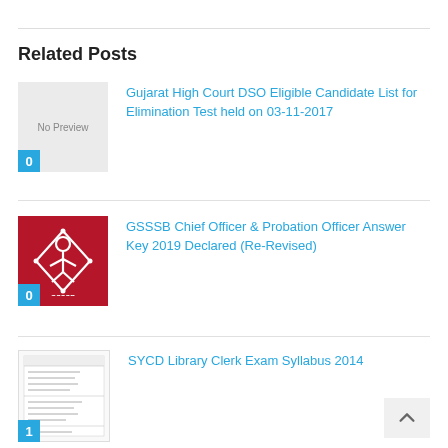Related Posts
Gujarat High Court DSO Eligible Candidate List for Elimination Test held on 03-11-2017
GSSSB Chief Officer & Probation Officer Answer Key 2019 Declared (Re-Revised)
SYCD Library Clerk Exam Syllabus 2014